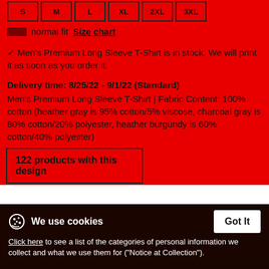S, M, L, XL, 2XL, 3XL (size buttons)
normal fit  Size chart
✓ Men's Premium Long Sleeve T-Shirt is in stock. We will print it as soon as you order it.
Delivery time: 8/25/22 - 9/1/22 (Standard)
Men's Premium Long Sleeve T-Shirt | Fabric Content: 100% cotton (heather gray is 95% cotton/5% viscose, charcoal gray is 80% cotton/20% polyester, heather burgundy is 60% cotton/40% polyester)
122 products with this design
We use cookies
Click here to see a list of the categories of personal information we collect and what we use them for ("Notice at Collection").
Privacy Policy
Do Not Sell My Personal Information
By using this website, I agree to the Terms and Conditions